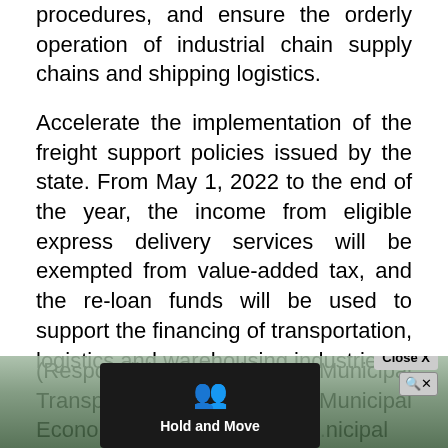procedures, and ensure the orderly operation of industrial chain supply chains and shipping logistics.
Accelerate the implementation of the freight support policies issued by the state. From May 1, 2022 to the end of the year, the income from eligible express delivery services will be exempted from value-added tax, and the re-loan funds will be used to support the financing of transportation, logistics and warehousing industries.
(Responsible units: Municipal Transportation Commission, Municipal Economic Information Comr... nicipal
[Figure (screenshot): A web browser overlay showing a 'Hold and Move' advertisement bar with a dark background and a close button, partially obscuring the bottom of the document text.]